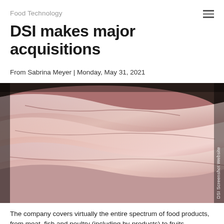Food Technology
DSI makes major acquisitions
From Sabrina Meyer | Monday, May 31, 2021
[Figure (photo): Close-up of frozen/chilled raw meat cuts (pork ribs or similar), photographed from above, with a watermark 'DSI Screenshot Website' along the right edge.]
The company covers virtually the entire spectrum of food products, from meat, fish and poultry (including by-products) to fruits, vegetables, and prepared meals